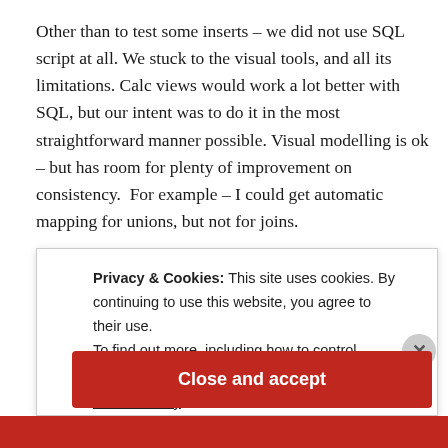Other than to test some inserts – we did not use SQL script at all. We stuck to the visual tools, and all its limitations. Calc views would work a lot better with SQL, but our intent was to do it in the most straightforward manner possible. Visual modelling is ok – but has room for plenty of improvement on consistency.  For example – I could get automatic mapping for unions, but not for joins.
In any case – by yesterday evening, we over came all the
Privacy & Cookies: This site uses cookies. By continuing to use this website, you agree to their use.
To find out more, including how to control cookies, see here:
Cookie Policy
Close and accept